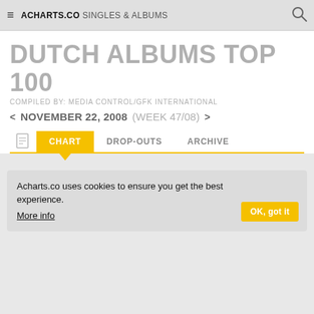ACHARTS.CO SINGLES & ALBUMS
DUTCH ALBUMS TOP 100
COMPILED BY: MEDIA CONTROL/GFK INTERNATIONAL
< NOVEMBER 22, 2008 (WEEK 47/08) >
CHART   DROP-OUTS   ARCHIVE
Acharts.co uses cookies to ensure you get the best experience. More info   OK, got it